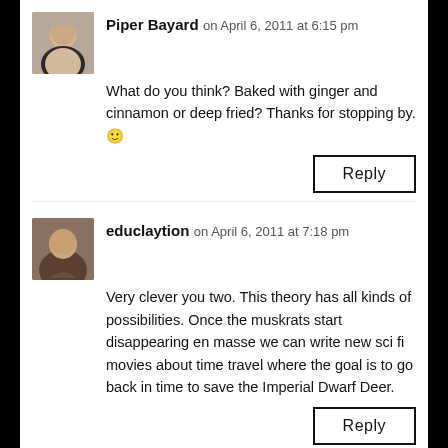Piper Bayard on April 6, 2011 at 6:15 pm
What do you think? Baked with ginger and cinnamon or deep fried? Thanks for stopping by. 🙂
Reply
educlaytion on April 6, 2011 at 7:18 pm
Very clever you two. This theory has all kinds of possibilities. Once the muskrats start disappearing en masse we can write new sci fi movies about time travel where the goal is to go back in time to save the Imperial Dwarf Deer.
Reply